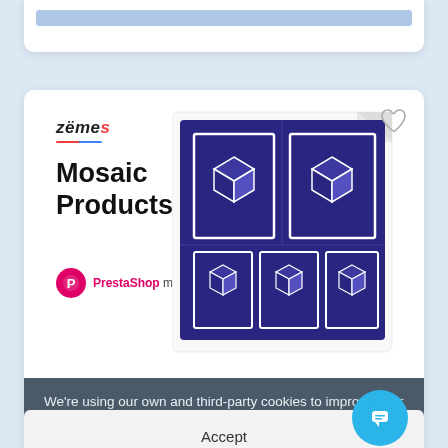[Figure (screenshot): Top card with a gray/blue horizontal bar inside a white rounded card, partially visible at top of page]
[Figure (screenshot): Product card for 'Mosaic Products' PrestaShop module by Zemes, showing logo, product title, badge, and a dark blue illustration with box icons in mosaic grid layout]
We're using our own and third-party cookies to improve your experience and our website. Keep on browsing to accept our cookie policy.
Accept